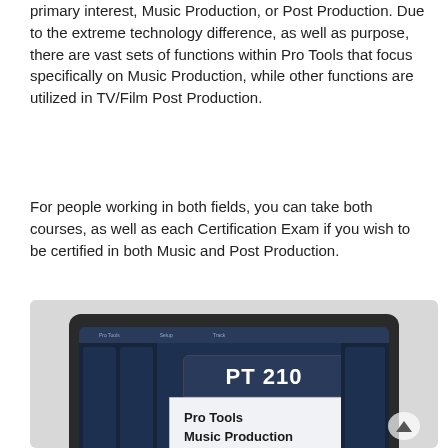primary interest, Music Production, or Post Production. Due to the extreme technology difference, as well as purpose, there are vast sets of functions within Pro Tools that focus specifically on Music Production, while other functions are utilized in TV/Film Post Production.
For people working in both fields, you can take both courses, as well as each Certification Exam if you wish to be certified in both Music and Post Production.
[Figure (screenshot): Screenshot of a laptop displaying a Pro Tools interface with a badge overlay showing 'PT 210' in white text on a dark navy background, and below it 'Pro Tools Music Production' on a light background. The Pro Tools mixing console is visible in the background with channel faders and green level meters.]